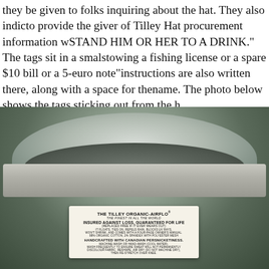they be given to folks inquiring about the hat. They also indicate to provide the giver of Tilley Hat procurement information w... STAND HIM OR HER TO A DRINK." The tags sit in a small pocket stowing a fishing license or a spare $10 bill or a 5-euro note" instructions are also written there, along with a space for the name. The photo below shows the tags sticking out from the h...
[Figure (photo): Interior view of a Tilley Organic-AirFlo hat showing the inside crown with a visible label tag reading: THE TILLEY ORGANIC-AIRFLO / THE FINEST IN ALL THE WORLD / INSURED AGAINST LOSS, GUARANTEED FOR LIFE / (REPLACED FREE IF IT EVER WEARS OUT) / IT FLOATS, TIES ON, REPELS RAIN, BLOCKS UV RAYS, WON'T SHRINK, AND COMES WITH A FOUR-PAGE OWNER'S MANUAL. / 98% ORGANIC COTTON, 2% SPANDEX WITH POLYESTER MESH / HANDCRAFTED WITH CANADIAN PERSNICKETINESS. / MACHINE-WASH OR HAND-WASH (COOL WATER). / WASH FREQUENTLY TO ENSURE SWEAT WILL NOT PERMANENTLY DISCOLOUR FABRIC. RESHAPE, AIR DRY (DO NOT MACHINE DRY), / THEN RE-STRETCH OVER KNEE.]